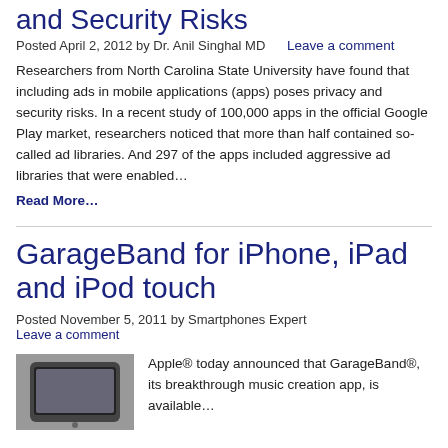and Security Risks
Posted April 2, 2012 by Dr. Anil Singhal MD    Leave a comment
Researchers from North Carolina State University have found that including ads in mobile applications (apps) poses privacy and security risks. In a recent study of 100,000 apps in the official Google Play market, researchers noticed that more than half contained so-called ad libraries. And 297 of the apps included aggressive ad libraries that were enabled…
Read More…
GarageBand for iPhone, iPad and iPod touch
Posted November 5, 2011 by Smartphones Expert
Leave a comment
[Figure (photo): Photo of a smartphone device]
Apple® today announced that GarageBand®, its breakthrough music creation app, is available…